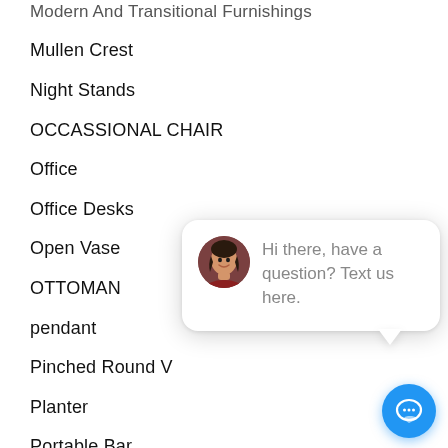Modern And Transitional Furnishings
Mullen Crest
Night Stands
OCCASSIONAL CHAIR
Office
Office Desks
Open Vase
OTTOMAN
pendant
Pinched Round V
Planter
Portable Bar
Portfolio
Re-Decorating
Re-Designing/ Re-Decorating
[Figure (screenshot): Chat popup widget with avatar photo and message 'Hi there, have a question? Text us here.' with a close button and a blue chat bubble icon.]